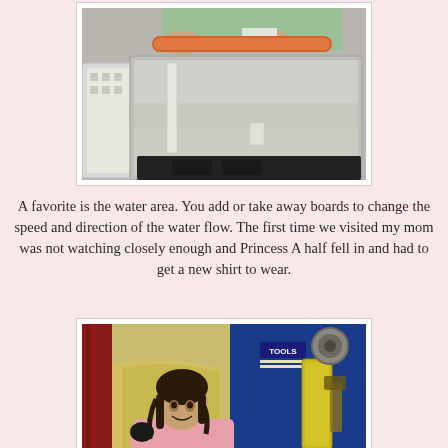[Figure (photo): Photo of a water table activity area at a children's museum, showing a white tray with an orange foam roller, a white bin on the left, and dark base, with hands visible at the top manipulating the water flow setup.]
A favorite is the water area. You add or take away boards to change the speed and direction of the water flow. The first time we visited my mom was not watching closely enough and Princess A half fell in and had to get a new shirt to wear.
[Figure (photo): Photo of a young girl smiling at a children's museum exhibit, standing in front of a yellow/beige slide structure with a blue TOOLS display case in the background containing various tools.]